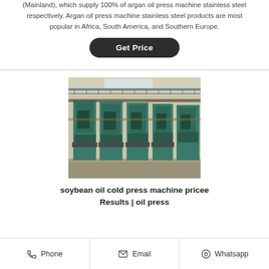(Mainland), which supply 100% of argan oil press machine stainless steel respectively. Argan oil press machine stainless steel products are most popular in Africa, South America, and Southern Europe.
Get Price
[Figure (photo): Row of large industrial green oil press machines in a factory setting with overhead structure visible.]
soybean oil cold press machine pricee Results | oil press
Phone   Email   Whatsapp